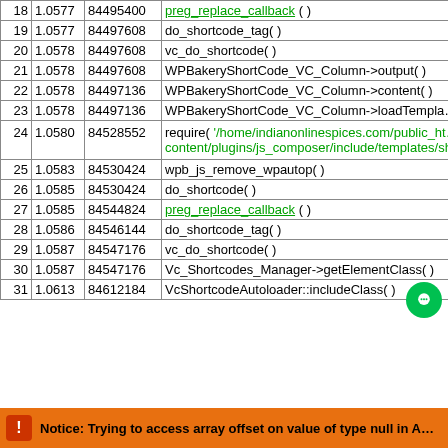| # | Time | Memory | Function |
| --- | --- | --- | --- |
| 18 | 1.0577 | 84495400 | preg_replace_callback ( ) |
| 19 | 1.0577 | 84497608 | do_shortcode_tag( ) |
| 20 | 1.0578 | 84497608 | vc_do_shortcode( ) |
| 21 | 1.0578 | 84497608 | WPBakeryShortCode_VC_Column->output( ) |
| 22 | 1.0578 | 84497136 | WPBakeryShortCode_VC_Column->content( ) |
| 23 | 1.0578 | 84497136 | WPBakeryShortCode_VC_Column->loadTempl… |
| 24 | 1.0580 | 84528552 | require( '/home/indianonlinespices.com/public_ht… content/plugins/js_composer/include/templates/sh… ) |
| 25 | 1.0583 | 84530424 | wpb_js_remove_wpautop( ) |
| 26 | 1.0585 | 84530424 | do_shortcode( ) |
| 27 | 1.0585 | 84544824 | preg_replace_callback ( ) |
| 28 | 1.0586 | 84546144 | do_shortcode_tag( ) |
| 29 | 1.0587 | 84547176 | vc_do_shortcode( ) |
| 30 | 1.0587 | 84547176 | Vc_Shortcodes_Manager->getElementClass( ) |
| 31 | 1.0613 | 84612184 | VcShortcodeAutoloader::includeClass( ) |
Notice: Trying to access array offset on value of type null in A…